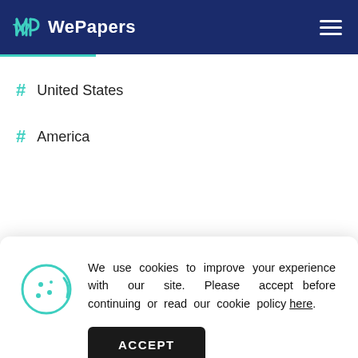WePapers
# United States
# America
We use cookies to improve your experience with our site. Please accept before continuing or read our cookie policy here.
# Literature
# Women
# Books